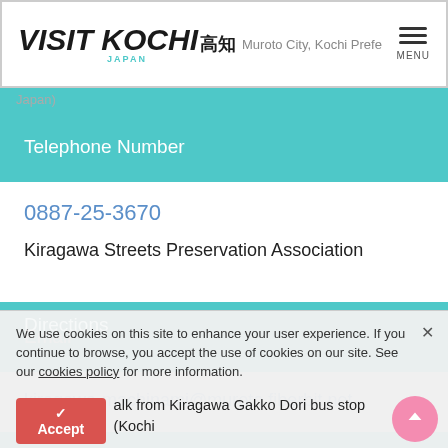VISIT KOCHI 高知 JAPAN | Muroto City, Kochi Prefecture, Japan
Telephone Number
0887-25-3670
Kiragawa Streets Preservation Association
Email
kiragawa-machinami@muroto.fiberbit.net
Directions
walk from Kiragawa Gakko Dori bus stop (Kochi Tobu Kotsu Bus)
We use cookies on this site to enhance your user experience. If you continue to browse, you accept the use of cookies on our site. See our cookies policy for more information.